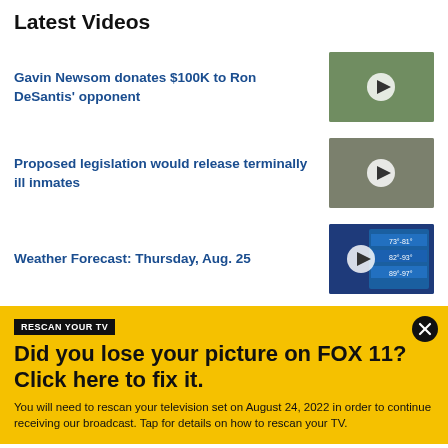Latest Videos
Gavin Newsom donates $100K to Ron DeSantis' opponent
Proposed legislation would release terminally ill inmates
Weather Forecast: Thursday, Aug. 25
RESCAN YOUR TV
Did you lose your picture on FOX 11? Click here to fix it.
You will need to rescan your television set on August 24, 2022 in order to continue receiving our broadcast. Tap for details on how to rescan your TV.